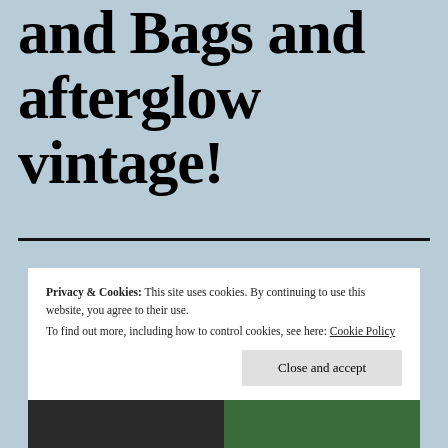and Bags and afterglow vintage!
Privacy & Cookies: This site uses cookies. By continuing to use this website, you agree to their use.
To find out more, including how to control cookies, see here: Cookie Policy
Close and accept
[Figure (photo): Bottom strip showing partial photos: dark figure on left, colorful patterned fabric on right]